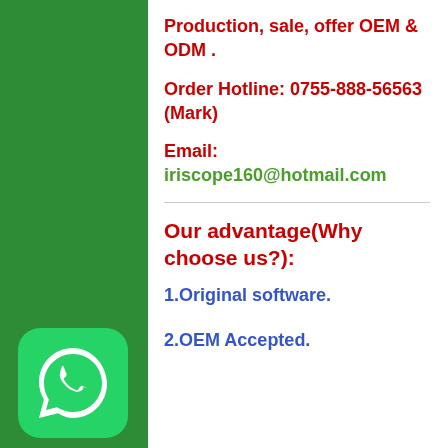Production, sale, offer OEM & ODM .
Order Hotline: 0755-888-56563 (Mark)
Email: iriscope160@hotmail.com
Our advantage(Why choose us?):
1.Original software.
2.OEM Accepted.
[Figure (logo): WhatsApp green rounded square icon with white phone handset symbol]